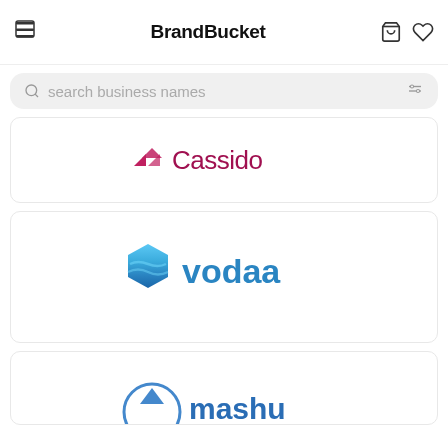BrandBucket
search business names
[Figure (logo): Cassido logo with pink bird icon and dark pink text 'Cassido']
[Figure (logo): Vodaa logo with blue hexagon water icon and blue text 'vodaa']
[Figure (logo): Partially visible logo at bottom of page with circular icon and text starting with 'ma']